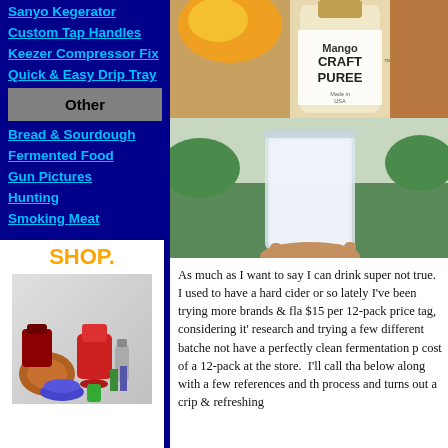Sanyo Kegerator
Custom Tap Handles
Keezer Compressor Fix
Quick & Easy Drip Tray
Other
Bread & Sourdough
Fermented Food
Gun Pictures
Hunting
Smoking Meat
[Figure (photo): Shop advertisement banner with household and sporting goods items]
[Figure (photo): Mango Craft Puree product bottle closeup]
[Figure (photo): A cloudy white drink in a glass held outdoors with green grass in background]
As much as I want to say I can drink super not true. I used to have a hard cider or so lately I've been trying more brands & fla $15 per 12-pack price tag, considering it' research and trying a few different batche not have a perfectly clean fermentation p cost of a 12-pack at the store. I'll call tha below along with a few references and th process and turns out a crip & refreshing